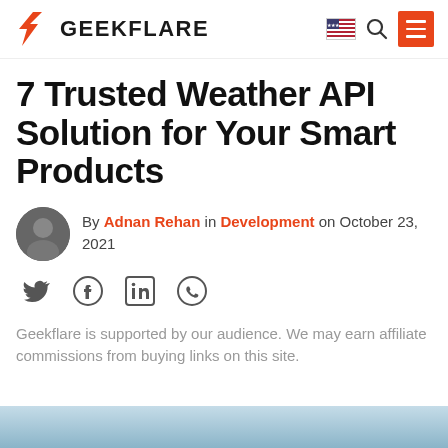GEEKFLARE
7 Trusted Weather API Solution for Your Smart Products
By Adnan Rehan in Development on October 23, 2021
[Figure (illustration): Social share icons: Twitter, Facebook, LinkedIn, WhatsApp]
Geekflare is supported by our audience. We may earn affiliate commissions from buying links on this site.
[Figure (photo): Bottom image strip showing a blue sky/horizon scene]